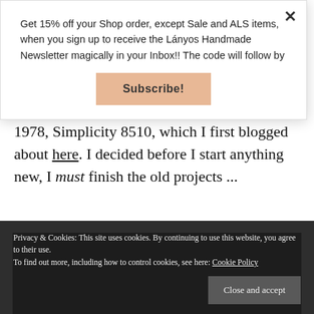Get 15% off your Shop order, except Sale and ALS items, when you sign up to receive the Lányos Handmade Newsletter magically in your Inbox!! The code will follow by
Subscribe!
1978, Simplicity 8510, which I first blogged about here. I decided before I start anything new, I must finish the old projects ...
[Figure (photo): Dark image strip showing partial photo content]
Privacy & Cookies: This site uses cookies. By continuing to use this website, you agree to their use. To find out more, including how to control cookies, see here: Cookie Policy
Close and accept